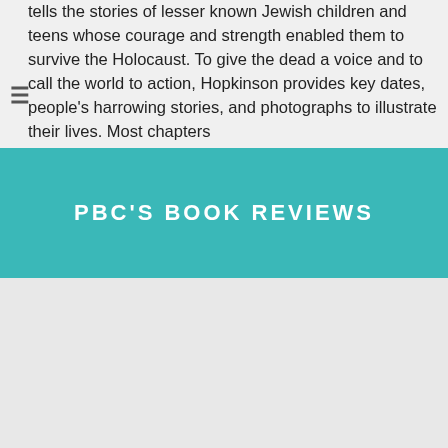tells the stories of lesser known Jewish children and teens whose courage and strength enabled them to survive the Holocaust. To give the dead a voice and to call the world to action, Hopkinson provides key dates, people's harrowing stories, and photographs to illustrate their lives. Most chapters
PBC'S BOOK REVIEWS
[Figure (photo): Book cover showing the word SEPARATE in large bold blue letters on a black background]